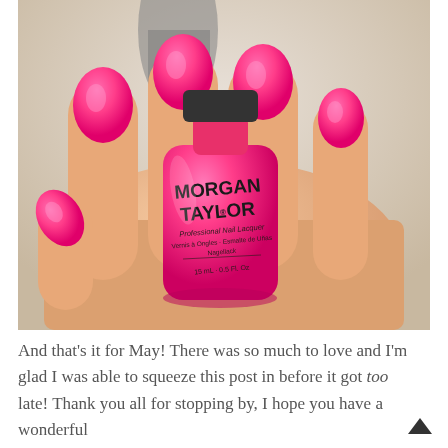[Figure (photo): Close-up photograph of a hand holding a bright hot pink Morgan Taylor Professional Nail Lacquer bottle (15ml / 0.5 fl. oz), with matching hot pink painted nails visible in the background.]
And that's it for May! There was so much to love and I'm glad I was able to squeeze this post in before it got too late! Thank you all for stopping by, I hope you have a wonderful